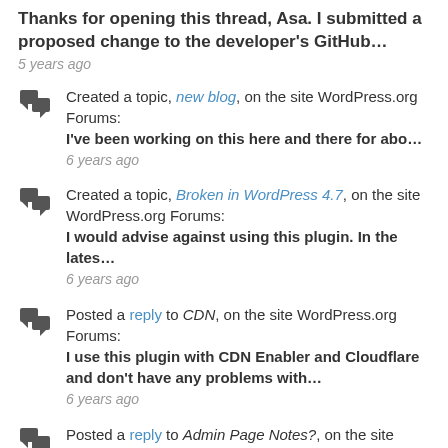Thanks for opening this thread, Asa. I submitted a proposed change to the developer's GitHub… — 5 years ago
Created a topic, new blog, on the site WordPress.org Forums: I've been working on this here and there for abo… — 6 years ago
Created a topic, Broken in WordPress 4.7, on the site WordPress.org Forums: I would advise against using this plugin. In the lates… — 6 years ago
Posted a reply to CDN, on the site WordPress.org Forums: I use this plugin with CDN Enabler and Cloudflare and don't have any problems with… — 6 years ago
Posted a reply to Admin Page Notes?, on the site WordPress.org Forums: @kylephillips That is a great new feature, thank you! — 6 years ago
Posted a reply to No more Falcon Engine…noooooooooooo??,